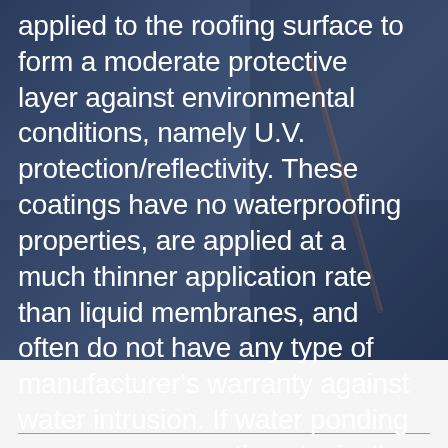[Figure (photo): Dark blue-tinted background photo of roofing work with a tool visible, overlaid with white text about roofing coatings.]
applied to the roofing surface to form a moderate protective layer against environmental conditions, namely U.V. protection/reflectivity. These coatings have no waterproofing properties, are applied at a much thinner application rate than liquid membranes, and often do not have any type of manufacturer's warranty against water intrusion. If water ponding occurs, many coatings typically flake up and expose the underlying waterproofing.